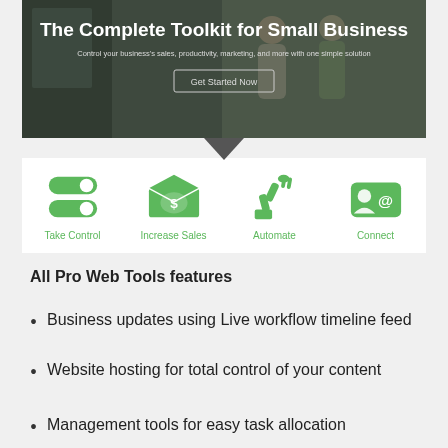[Figure (screenshot): Hero banner showing 'The Complete Toolkit for Small Business' with subtitle and 'Get Started Now' button over a photo of business owners]
[Figure (infographic): Four green icons labeled: Take Control (toggle switches), Increase Sales (money/cash), Automate (robotic arm), Connect (person with email)]
All Pro Web Tools features
Business updates using Live workflow timeline feed
Website hosting for total control of your content
Management tools for easy task allocation